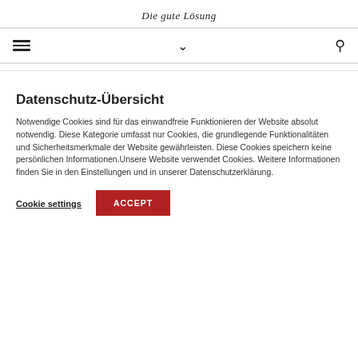Die gute Lösung
[Figure (other): Navigation bar with hamburger menu icon, chevron dropdown icon, and search icon]
Datenschutz-Übersicht
Notwendige Cookies sind für das einwandfreie Funktionieren der Website absolut notwendig. Diese Kategorie umfasst nur Cookies, die grundlegende Funktionalitäten und Sicherheitsmerkmale der Website gewährleisten. Diese Cookies speichern keine persönlichen Informationen.Unsere Website verwendet Cookies. Weitere Informationen finden Sie in den Einstellungen und in unserer Datenschutzerklärung.
Cookie settings
ACCEPT